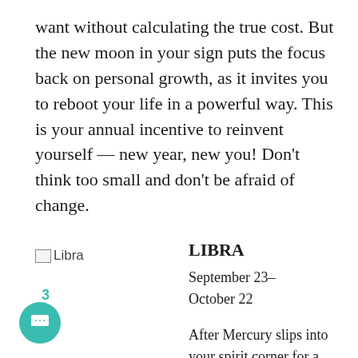want without calculating the true cost. But the new moon in your sign puts the focus back on personal growth, as it invites you to reboot your life in a powerful way. This is your annual incentive to reinvent yourself — new year, new you! Don't think too small and don't be afraid of change.
[Figure (illustration): Libra zodiac sign image placeholder with broken image icon and label text 'Libra']
LIBRA
September 23–October 22
After Mercury slips into your spirit corner for a two-week retreat, you'll be less inclined to divulge what you're
3